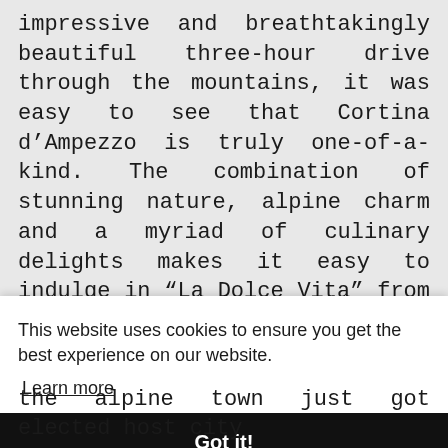impressive and breathtakingly beautiful three-hour drive through the mountains, it was easy to see that Cortina d’Ampezzo is truly one-of-a-kind. The combination of stunning nature, alpine charm and a myriad of culinary delights makes it easy to indulge in “La Dolce Vita” from day one. The outstanding lunch at family farm and restaurant San Brite almost moved us to tears thanks to its perfect concept and
This website uses cookies to ensure you get the best experience on our website.
Learn more
Got it!
the alpine town just got elected host city